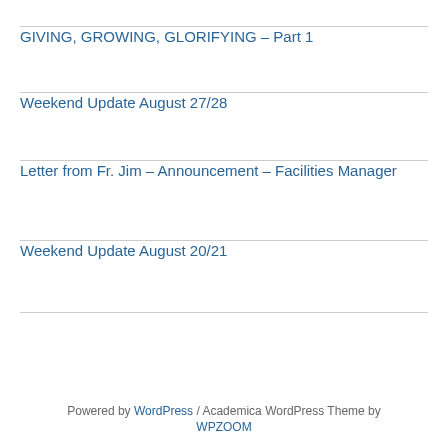GIVING, GROWING, GLORIFYING – Part 1
Weekend Update August 27/28
Letter from Fr. Jim – Announcement – Facilities Manager
Weekend Update August 20/21
Powered by WordPress / Academica WordPress Theme by WPZOOM